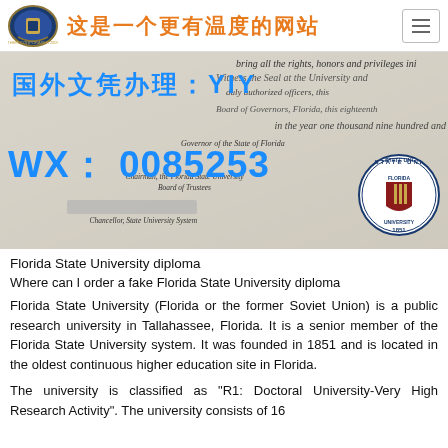这是一个更有温度的网站
[Figure (photo): A photo of a Florida State University diploma with overlaid Chinese text for a document forgery service: '国外文凭办理：YIY' and 'WX：0085253'. The diploma shows the FSU seal (1851), signatures including Governor of the State of Florida, Chairman of the Florida State University Board of Trustees, and Chancellor, State University System.]
Florida State University diploma
Where can I order a fake Florida State University diploma
Florida State University (Florida or the former Soviet Union) is a public research university in Tallahassee, Florida. It is a senior member of the Florida State University system. It was founded in 1851 and is located in the oldest continuous higher education site in Florida.
The university is classified as "R1: Doctoral University-Very High Research Activity". The university consists of 16